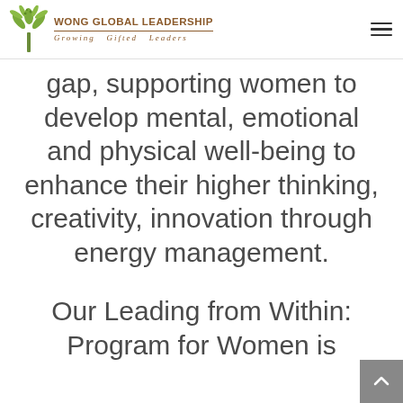WONG GLOBAL LEADERSHIP — Growing Gifted Leaders
gap, supporting women to develop mental, emotional and physical well-being to enhance their higher thinking, creativity, innovation through energy management.
Our Leading from Within: Program for Women is available for women in Hong Kong, Asia, Europe and the United States. We guide women through a holistic approach to become the